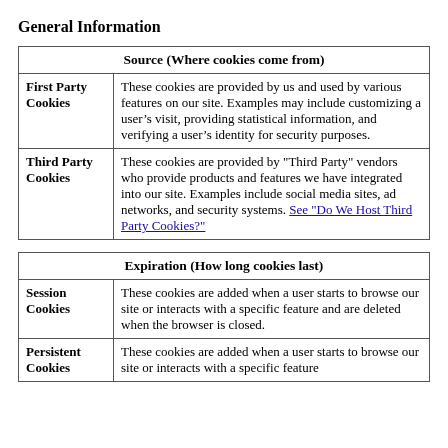General Information
| Source (Where cookies come from) |
| --- |
| First Party Cookies | These cookies are provided by us and used by various features on our site. Examples may include customizing a user’s visit, providing statistical information, and verifying a user’s identity for security purposes. |
| Third Party Cookies | These cookies are provided by "Third Party" vendors who provide products and features we have integrated into our site. Examples include social media sites, ad networks, and security systems. See "Do We Host Third Party Cookies?" |
| Expiration (How long cookies last) |
| --- |
| Session Cookies | These cookies are added when a user starts to browse our site or interacts with a specific feature and are deleted when the browser is closed. |
| Persistent Cookies | These cookies are added when a user starts to browse our site or interacts with a specific feature |